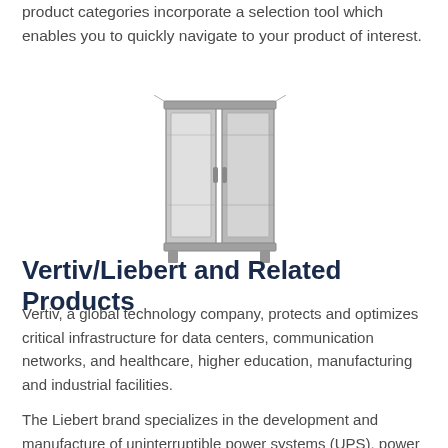product categories incorporate a selection tool which enables you to quickly navigate to your product of interest.
[Figure (photo): A server rack enclosure cabinet with open doors, shown in a grey/silver finish, displayed at a slight angle.]
Vertiv/Liebert and Related Products
Vertiv, a global technology company, protects and optimizes critical infrastructure for data centers, communication networks, and healthcare, higher education, manufacturing and industrial facilities.
The Liebert brand specializes in the development and manufacture of uninterruptible power systems (UPS), power